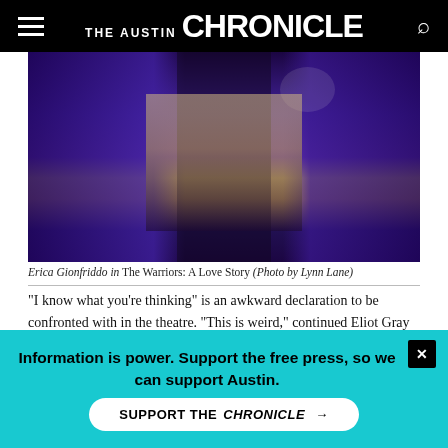THE AUSTIN CHRONICLE
[Figure (photo): A dancer (Erica Gionfriddo) performing in The Warriors: A Love Story, set against purple stage lighting with other performers visible in background]
Erica Gionfriddo in The Warriors: A Love Story (Photo by Lynn Lane)
"I know what you're thinking" is an awkward declaration to be confronted with in the theatre. "This is weird," continued Eliot Gray Fisher, addressing the audience in Arcos Dance's multimedia performance The Warriors: A Love Story. But it wasn't at all what I was thinking. Only a few minutes into the show, I was already immersed in the world created and sustained by a true synthesis of dance, lighting, sound, video, and stagecraft. The reaching, frantic
Information is power. Support the free press, so we can support Austin.
SUPPORT THE CHRONICLE →